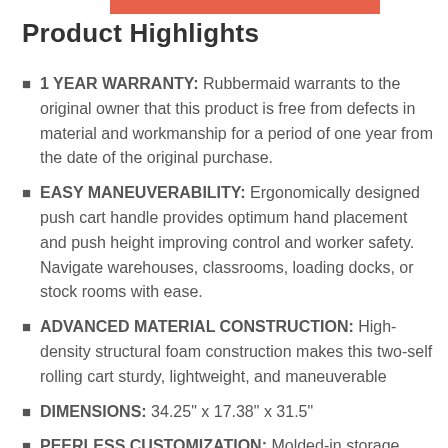Product Highlights
1 YEAR WARRANTY: Rubbermaid warrants to the original owner that this product is free from defects in material and workmanship for a period of one year from the date of the original purchase.
EASY MANEUVERABILITY: Ergonomically designed push cart handle provides optimum hand placement and push height improving control and worker safety. Navigate warehouses, classrooms, loading docks, or stock rooms with ease.
ADVANCED MATERIAL CONSTRUCTION: High-density structural foam construction makes this two-self rolling cart sturdy, lightweight, and maneuverable
DIMENSIONS: 34.25" x 17.38" x 31.5"
PEERLESS CUSTOMIZATION: Molded-in storage compartments, holsters, hooks, and notches